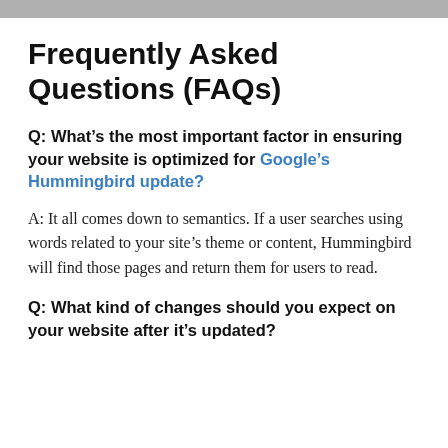Frequently Asked Questions (FAQs)
Q: What’s the most important factor in ensuring your website is optimized for Google’s Hummingbird update?
A: It all comes down to semantics. If a user searches using words related to your site’s theme or content, Hummingbird will find those pages and return them for users to read.
Q: What kind of changes should you expect on your website after it’s updated?